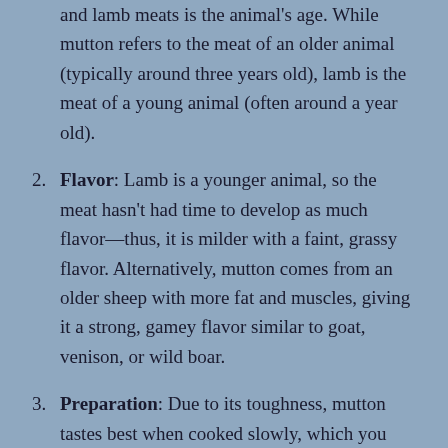and lamb meats is the animal's age. While mutton refers to the meat of an older animal (typically around three years old), lamb is the meat of a young animal (often around a year old).
Flavor: Lamb is a younger animal, so the meat hasn't had time to develop as much flavor—thus, it is milder with a faint, grassy flavor. Alternatively, mutton comes from an older sheep with more fat and muscles, giving it a strong, gamey flavor similar to goat, venison, or wild boar.
Preparation: Due to its toughness, mutton tastes best when cooked slowly, which you can do using a slow cooker, slow-roaster, or